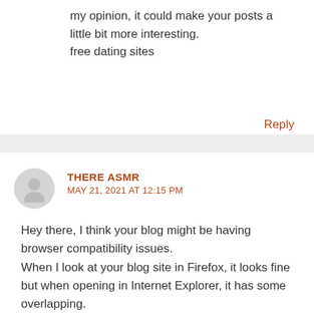my opinion, it could make your posts a little bit more interesting.
free dating sites
Reply
THERE ASMR
MAY 21, 2021 AT 12:15 PM
Hey there, I think your blog might be having browser compatibility issues.
When I look at your blog site in Firefox, it looks fine but when opening in Internet Explorer, it has some overlapping.
I just wanted to give you a quick heads up! Other